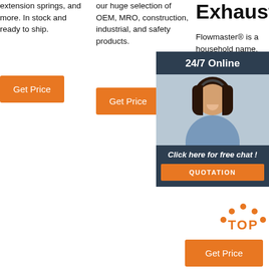extension springs, and more. In stock and ready to ship.
Get Price
our huge selection of OEM, MRO, construction, industrial, and safety products.
Get Price
Exhaust
Flowmaster® is a household name, and for good reason. They... legendary systems... for custom offers... intake... converters... headers... hot ... match the iconic Flowmaster ...
[Figure (photo): Customer service representative with headset, with 24/7 Online overlay panel, Click here for free chat, and QUOTATION button]
[Figure (other): TOP arrow icon in orange dots and text]
Get Price